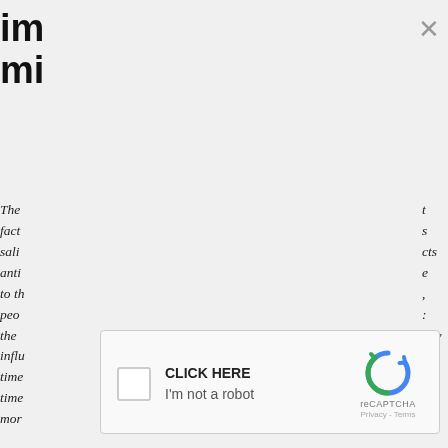im
mi
[Figure (screenshot): Close (X) button in top right corner of a modal dialog]
The
fact
sali
anti
to th
peo
the
influ
time
time
mor
t
s
cts
e
,
:
any
[Figure (screenshot): reCAPTCHA widget with checkbox, 'CLICK HERE' label, 'I'm not a robot' text, reCAPTCHA logo, Privacy and Terms links]